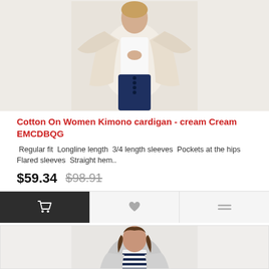[Figure (photo): Woman wearing a cream kimono cardigan with wide 3/4 length sleeves over a white top and dark jeans, against a light grey background]
Cotton On Women Kimono cardigan - cream Cream EMCDBQG
Regular fit  Longline length  3/4 length sleeves  Pockets at the hips Flared sleeves  Straight hem..
$59.34   $98.91
[Figure (photo): Woman wearing a grey open-front cardigan over a navy and white striped top, facing forward, against a light grey background]